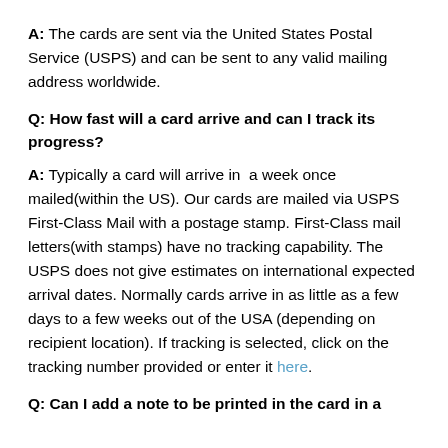A: The cards are sent via the United States Postal Service (USPS) and can be sent to any valid mailing address worldwide.
Q: How fast will a card arrive and can I track its progress?
A: Typically a card will arrive in a week once mailed(within the US). Our cards are mailed via USPS First-Class Mail with a postage stamp. First-Class mail letters(with stamps) have no tracking capability. The USPS does not give estimates on international expected arrival dates. Normally cards arrive in as little as a few days to a few weeks out of the USA (depending on recipient location). If tracking is selected, click on the tracking number provided or enter it here.
Q: Can I add a note to be printed in the card in a